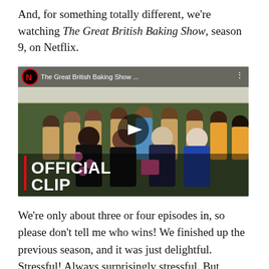And, for something totally different, we're watching The Great British Baking Show, season 9, on Netflix.
[Figure (screenshot): Netflix video thumbnail for The Great British Baking Show showing a group of bakers and hosts in a tent, with a play button in the center and 'OFFICIAL CLIP' text overlay in the lower left.]
We're only about three or four episodes in, so please don't tell me who wins! We finished up the previous season, and it was just delightful. Stressful! Always surprisingly stressful. But